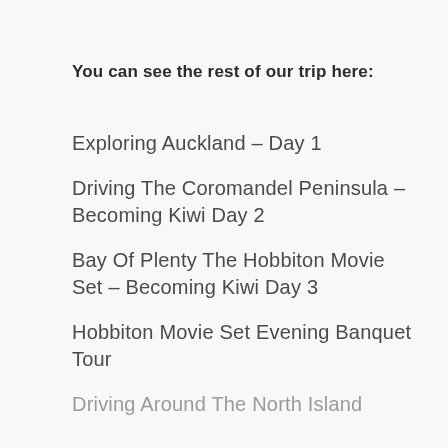You can see the rest of our trip here:
Exploring Auckland – Day 1
Driving The Coromandel Peninsula – Becoming Kiwi Day 2
Bay Of Plenty The Hobbiton Movie Set – Becoming Kiwi Day 3
Hobbiton Movie Set Evening Banquet Tour
Driving Around The North Island